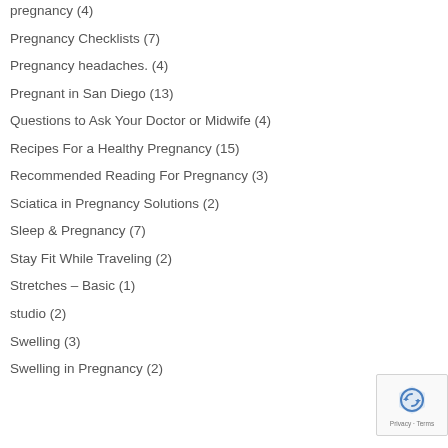pregnancy (4)
Pregnancy Checklists (7)
Pregnancy headaches. (4)
Pregnant in San Diego (13)
Questions to Ask Your Doctor or Midwife (4)
Recipes For a Healthy Pregnancy (15)
Recommended Reading For Pregnancy (3)
Sciatica in Pregnancy Solutions (2)
Sleep & Pregnancy (7)
Stay Fit While Traveling (2)
Stretches – Basic (1)
studio (2)
Swelling (3)
Swelling in Pregnancy (2)